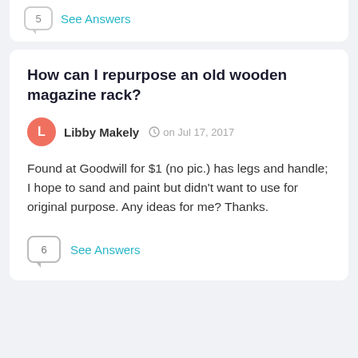[Figure (other): Speech bubble icon with number 5 and See Answers link at top of page]
How can I repurpose an old wooden magazine rack?
Libby Makely  on Jul 17, 2017
Found at Goodwill for $1 (no pic.) has legs and handle; I hope to sand and paint but didn't want to use for original purpose. Any ideas for me? Thanks.
6  See Answers